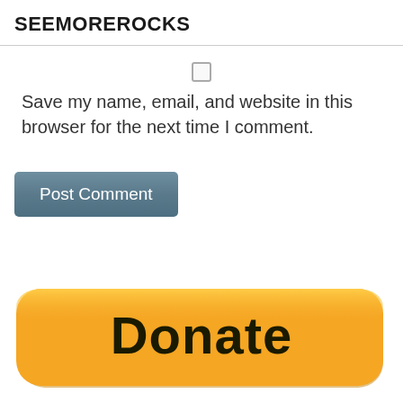SEEMOREROCKS
[Figure (screenshot): Checkbox (unchecked) UI element]
Save my name, email, and website in this browser for the next time I comment.
[Figure (screenshot): Post Comment button - grey/blue rounded rectangle button]
[Figure (other): PayPal Donate button - large yellow rounded rectangle with bold black 'Donate' text, partially cropped at bottom of page]